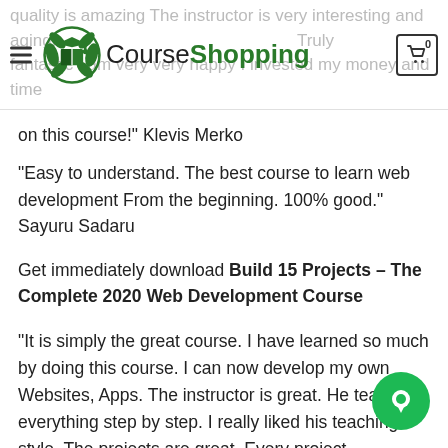CourseShopping
on this course!" Klevis Merko
“Easy to understand. The best course to learn web development From the beginning. 100% good.” Sayuru Sadaru
Get immediately download Build 15 Projects – The Complete 2020 Web Development Course
“It is simply the great course. I have learned so much by doing this course. I can now develop my own Websites, Apps. The instructor is great. He teaches everything step by step. I really liked his teaching style. The projects are great. Every project corresponds to real life. I am very happy about this course. Now I am going to by Javascript course by the same instructor. The instructor is amazing.” Erk...